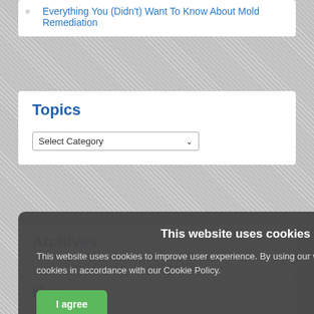Everything You (Didn't) Want To Know About Mold Remediation
Topics
Select Category
Archives
Meta
Log in
This website uses cookies
This website uses cookies to improve user experience. By using our website you consent to all cookies in accordance with our Cookie Policy.
I agree
I disagree
Read more